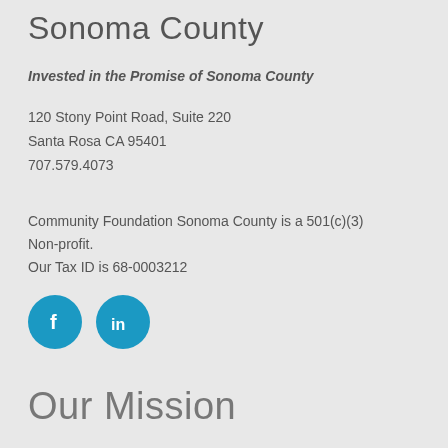Sonoma County
Invested in the Promise of Sonoma County
120 Stony Point Road, Suite 220
Santa Rosa CA 95401
707.579.4073
Community Foundation Sonoma County is a 501(c)(3) Non-profit.
Our Tax ID is 68-0003212
[Figure (illustration): Two social media icons: Facebook (f) and LinkedIn (in), both in teal/blue circles]
Our Mission